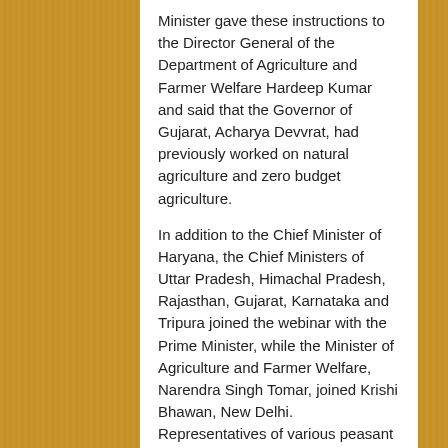Minister gave these instructions to the Director General of the Department of Agriculture and Farmer Welfare Hardeep Kumar and said that the Governor of Gujarat, Acharya Devvrat, had previously worked on natural agriculture and zero budget agriculture.
In addition to the Chief Minister of Haryana, the Chief Ministers of Uttar Pradesh, Himachal Pradesh, Rajasthan, Gujarat, Karnataka and Tripura joined the webinar with the Prime Minister, while the Minister of Agriculture and Farmer Welfare, Narendra Singh Tomar, joined Krishi Bhawan, New Delhi. Representatives of various peasant production groups from many states also joined and shared their experiences.
Related Posts:
Boy repeatedly kicked in Betjeman Millennium Park bout
Along with security researchers against the misuse of the DMCA